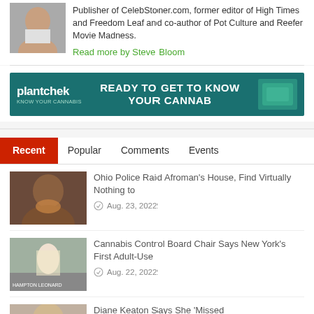[Figure (photo): Headshot of Steve Bloom, a middle-aged man with grey hair]
Publisher of CelebStoner.com, former editor of High Times and Freedom Leaf and co-author of Pot Culture and Reefer Movie Madness.
Read more by Steve Bloom
[Figure (photo): Plantchek advertisement banner: READY TO GET TO KNOW YOUR CANNAB]
Recent
Popular
Comments
Events
[Figure (photo): Thumbnail photo of Afroman laughing]
Ohio Police Raid Afroman's House, Find Virtually Nothing to
Aug. 23, 2022
[Figure (photo): Thumbnail photo related to Cannabis Control Board article]
Cannabis Control Board Chair Says New York's First Adult-Use
Aug. 22, 2022
[Figure (photo): Thumbnail photo related to Diane Keaton article]
Diane Keaton Says She 'Missed